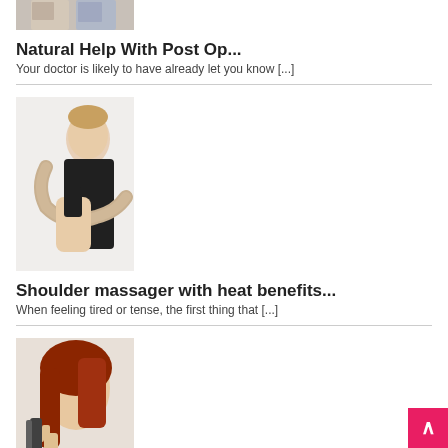[Figure (photo): Partial image of two people, cropped at top of page]
Natural Help With Post Op...
Your doctor is likely to have already let you know  [...]
[Figure (photo): Man using a shoulder massager with heat]
Shoulder massager with heat benefits...
When feeling tired or tense, the first thing that   [...]
[Figure (photo): Woman using a flat iron / curling iron on her hair]
Best Flat Iron Reviews: Top...
Though to many it may feel like something of a reg  [...]
[Figure (photo): Partial image at bottom of page, person partially visible]